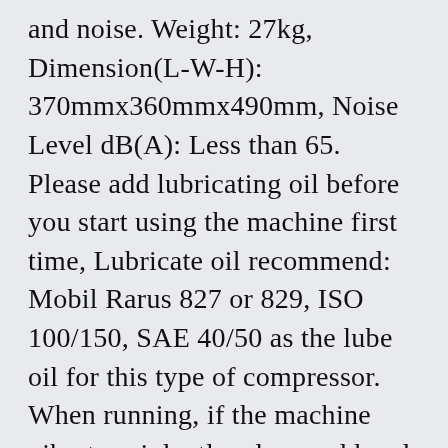and noise. Weight: 27kg, Dimension(L-W-H): 370mmx360mmx490mm, Noise Level dB(A): Less than 65. Please add lubricating oil before you start using the machine first time, Lubricate oil recommend: Mobil Rarus 827 or 829, ISO 100/150, SAE 40/50 as the lube oil for this type of compressor. When running, if the machine vibrates violently, please add pad or towel under the compressor. (Change lubricating oil after 1 first month, then replace oil every half year). When the compressor working, the cooling system must be working at the same time. The machine must not be working without oil, so you must pay attention to the level of oil. Check the electric voltage is the same as your local electric supply. Thank you for your understanding. Reason is because transit time is highly depended and